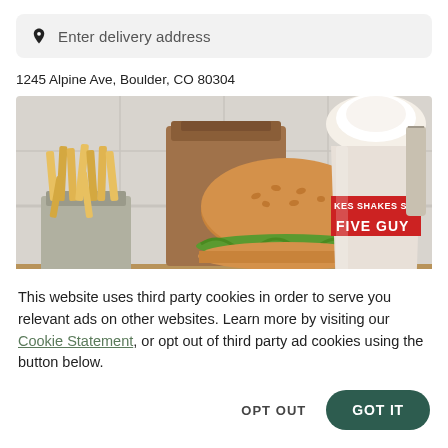Enter delivery address
1245 Alpine Ave, Boulder, CO 80304
[Figure (photo): Five Guys restaurant food photo showing a burger, fries in a paper bag, and a milkshake cup with 'FIVE GUYS SHAKES' branding]
This website uses third party cookies in order to serve you relevant ads on other websites. Learn more by visiting our Cookie Statement, or opt out of third party ad cookies using the button below.
OPT OUT
GOT IT